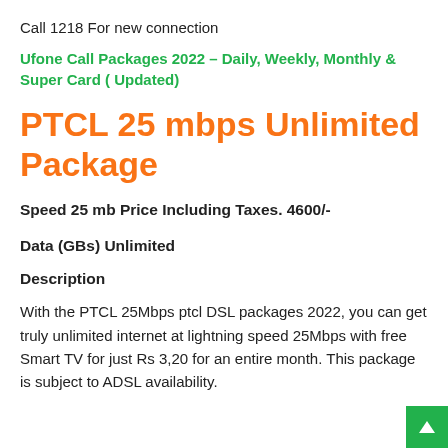Call 1218 For new connection
Ufone Call Packages 2022 – Daily, Weekly, Monthly & Super Card ( Updated)
PTCL 25 mbps Unlimited Package
Speed  25 mb Price Including Taxes. 4600/-
Data (GBs) Unlimited
Description
With the PTCL 25Mbps ptcl DSL packages 2022, you can get truly unlimited internet at lightning speed 25Mbps with free Smart TV for just Rs 3,20 for an entire month. This package is subject to ADSL availability.